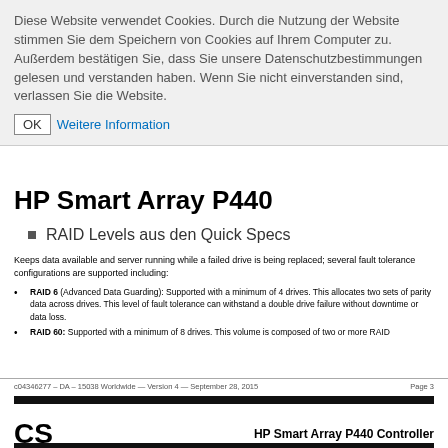Diese Website verwendet Cookies. Durch die Nutzung der Website stimmen Sie dem Speichern von Cookies auf Ihrem Computer zu. Außerdem bestätigen Sie, dass Sie unsere Datenschutzbestimmungen gelesen und verstanden haben. Wenn Sie nicht einverstanden sind, verlassen Sie die Website.
OK  Weitere Information
HP Smart Array P440
RAID Levels aus den Quick Specs
Keeps data available and server running while a failed drive is being replaced; several fault tolerance configurations are supported including:
RAID 6 (Advanced Data Guarding): Supported with a minimum of 4 drives. This allocates two sets of parity data across drives. This level of fault tolerance can withstand a double drive failure without downtime or data loss.
RAID 60: Supported with a minimum of 8 drives. This volume is composed of two or more RAID
c04346277 – DA – 15038 Worldwide — Version 4 — September 28, 2015    Page 3
CS    HP Smart Array P440 Controller